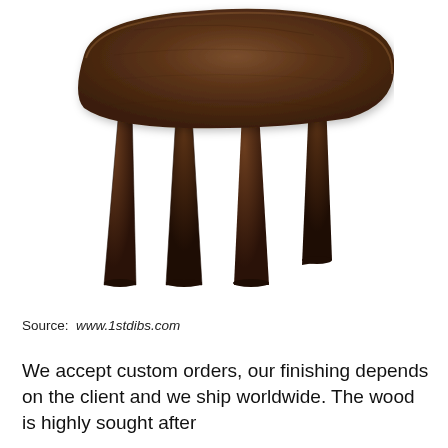[Figure (photo): A dark brown wooden African stool with a rounded rectangular top and multiple thick carved legs tapering to blunt points, photographed from a low angle against a white background.]
Source: www.1stdibs.com
We accept custom orders, our finishing depends on the client and we ship worldwide. The wood is highly sought after